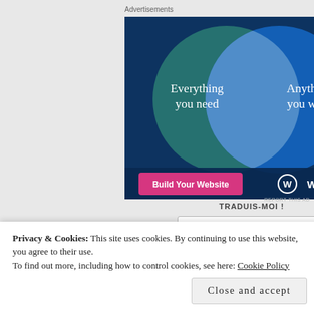Advertisements
[Figure (infographic): WordPress.com advertisement showing a Venn diagram with two overlapping circles. Left circle (teal/green) says 'Everything you need', right circle (blue) says 'Anything you want'. Overlap is light blue/white. Bottom has a pink 'Build Your Website' button and 'WordPress.com' logo with W icon on dark blue background.]
TRADUIS-MOI !
Select Language
Privacy & Cookies: This site uses cookies. By continuing to use this website, you agree to their use.
To find out more, including how to control cookies, see here: Cookie Policy
Close and accept